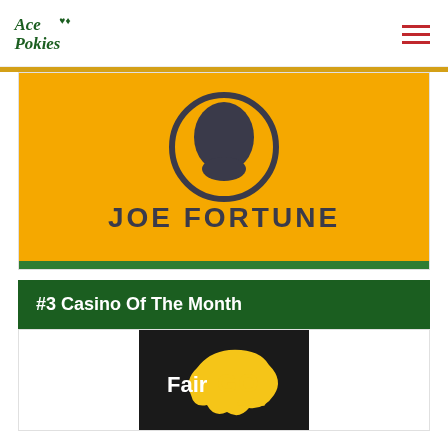Ace Pokies
[Figure (logo): Joe Fortune casino logo - yellow/gold background with dark silhouette of a man's face in a circle, text JOE FORTUNE below]
#3 Casino Of The Month
[Figure (logo): Fair Go Casino logo - dark background with yellow Australia map shape and text FairGo casino]